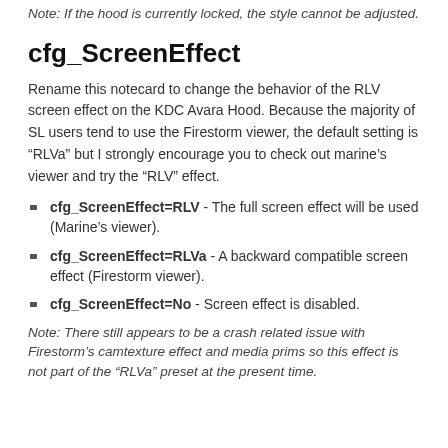Note: If the hood is currently locked, the style cannot be adjusted.
cfg_ScreenEffect
Rename this notecard to change the behavior of the RLV screen effect on the KDC Avara Hood. Because the majority of SL users tend to use the Firestorm viewer, the default setting is “RLVa” but I strongly encourage you to check out marine’s viewer and try the “RLV” effect.
cfg_ScreenEffect=RLV - The full screen effect will be used (Marine’s viewer).
cfg_ScreenEffect=RLVa - A backward compatible screen effect (Firestorm viewer).
cfg_ScreenEffect=No - Screen effect is disabled.
Note: There still appears to be a crash related issue with Firestorm’s camtexture effect and media prims so this effect is not part of the “RLVa” preset at the present time.